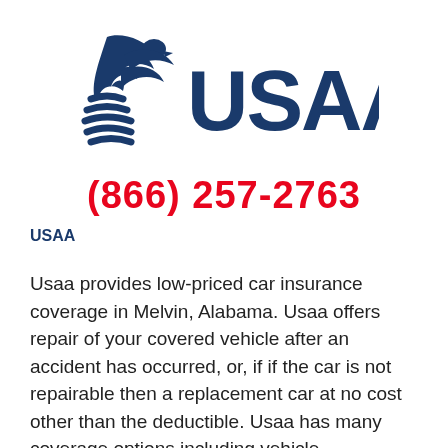[Figure (logo): USAA logo with eagle and flag icon in dark navy blue, with text 'USAA' in large bold navy letters]
(866) 257-2763
USAA
Usaa provides low-priced car insurance coverage in Melvin, Alabama. Usaa offers repair of your covered vehicle after an accident has occurred, or, if if the car is not repairable then a replacement car at no cost other than the deductible. Usaa has many coverage options including vehicle